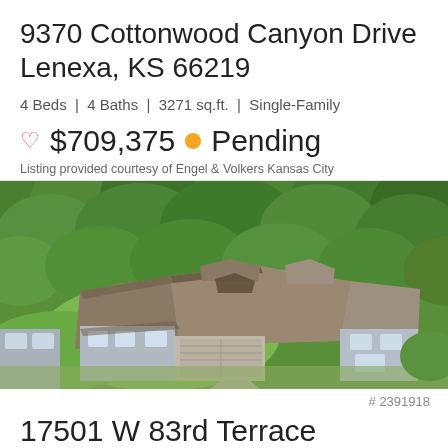9370 Cottonwood Canyon Drive Lenexa, KS 66219
4 Beds | 4 Baths | 3271 sq.ft. | Single-Family
♡ $709,375 ● Pending
Listing provided courtesy of Engel & Volkers Kansas City
[Figure (photo): Aerial view of a large single-family home surrounded by dense green trees, showing gray siding and brown/tan roof with multiple peaks and attached garage]
# 2391918
17501 W 83rd Terrace